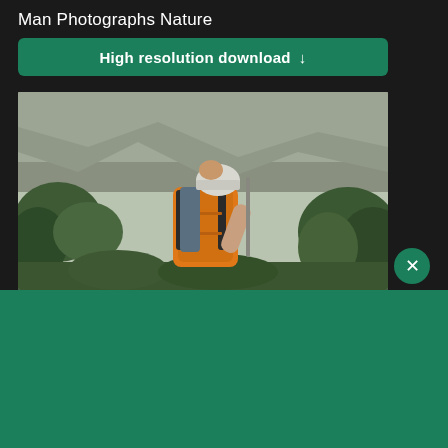Man Photographs Nature
High resolution download ↓
[Figure (photo): Man hiking in nature with a large orange backpack, wearing a white helmet, surrounded by rocky terrain and green vegetation]
[Figure (logo): Shopify logo — shopping bag icon with letter S and italic 'shopify' text in white on green background]
Need an online store for your business?
Start free trial